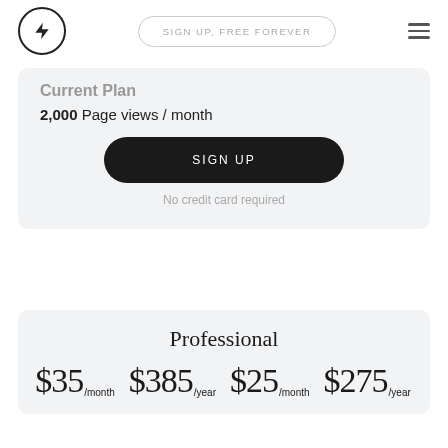SIGN UP, FREE FOREVER
Current Plan
2,000 Page views / month
SIGN UP
No credit card required
Professional
$35/month  $385/year  $25/month  $275/year